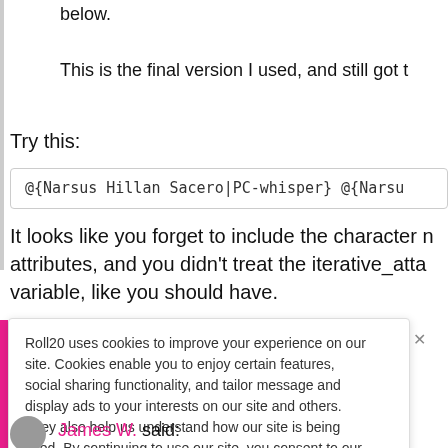below.
This is the final version I used, and still got t
Try this:
@{Narsus Hillan Sacero|PC-whisper} @{Narsu
It looks like you forget to include the character n attributes, and you didn't treat the iterative_atta variable, like you should have.
Roll20 uses cookies to improve your experience on our site. Cookies enable you to enjoy certain features, social sharing functionality, and tailor message and display ads to your interests on our site and others. They also help us understand how our site is being used. By continuing to use our site, you consent to our use of cookies. Update your cookie preferences here.
James W. said: